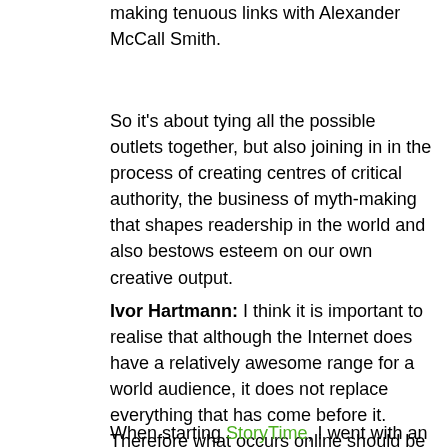making tenuous links with Alexander McCall Smith.
So it's about tying all the possible outlets together, but also joining in in the process of creating centres of critical authority, the business of myth-making that shapes readership in the world and also bestows esteem on our own creative output.
Ivor Hartmann: I think it is important to realise that although the Internet does have a relatively awesome range for a world audience, it does not replace everything that has come before it. Therefore what occurs online should be integrated with all other mediums possible (print, radio, TV, readings, book tours, shows, school outreach programs, etc.) for maximum potential effect.
When starting StoryTime, I went with an online